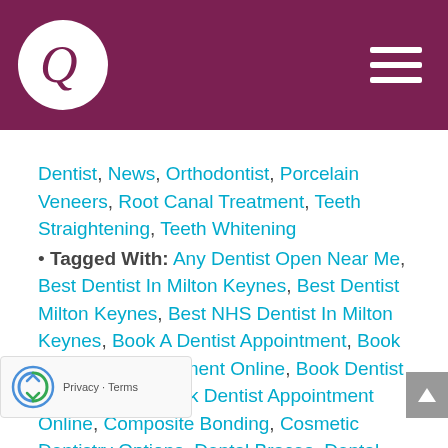Dental practice website header with logo and navigation menu
Dentist, News, Orthodontist, Porcelain Veneers, Root Canal Treatment, Teeth Straightening, Teeth Whitening
· Tagged With: Any Dentist Open Near Me, Best Dentist In Milton Keynes, Best Dentist Milton Keynes, Best NHS Dentist In Milton Keynes, Book A Dentist Appointment, Book A Dentist Appointment Online, Book Dentist Appointment, Book Dentist Appointment Online, Composite Bonding, Cosmetic Dentistry Options, Dental Braces, Dental Bridge, Dental Bridges, Dental Check Up, Dental Check Ups, Dental Clinic Milton Keynes, Dental Crown, Dental Crowns, Dental Hygienist, Dental Hygienist Appointment, Dental Hygienist Appointments, dental implants, Dental Open, Dental Patients, Dental Plans, Dental Practice Milton Keynes, Dental Surgery Milton Keynes, Dental Testimonials, Dental Veneers, dentist in milton keynes, Dentist In MK, Dentist Milton Keynes, Dentist MK